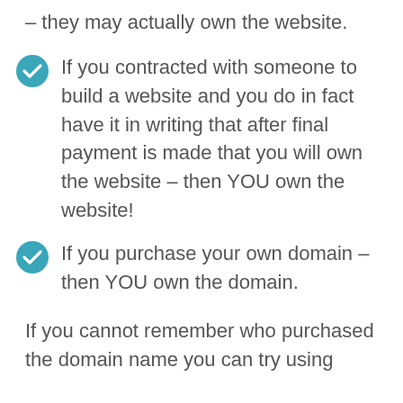– they may actually own the website.
If you contracted with someone to build a website and you do in fact have it in writing that after final payment is made that you will own the website – then YOU own the website!
If you purchase your own domain – then YOU own the domain.
If you cannot remember who purchased the domain name you can try using